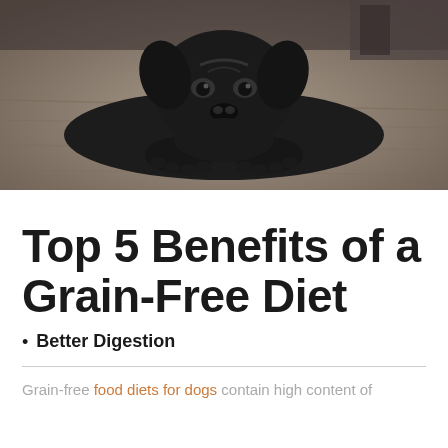[Figure (photo): Black and white photograph of a dark-colored dog lying down on a wooden floor with its head resting between its front paws, looking up at the camera.]
Top 5 Benefits of a Grain-Free Diet
Better Digestion
Grain-free food diets for dogs contain high content of